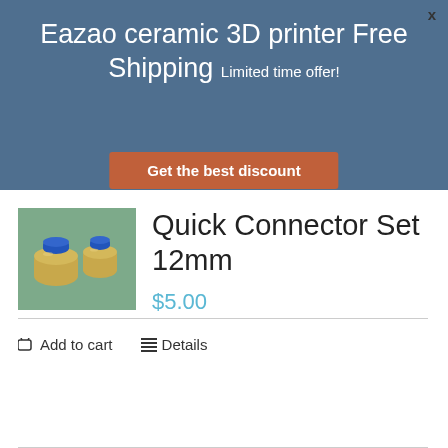Eazao ceramic 3D printer Free Shipping Limited time offer!
[Figure (other): Orange CTA button reading 'Get the best discount']
[Figure (photo): Photo of brass quick connector fittings with blue plastic inserts on a teal/green surface]
Quick Connector Set 12mm
$5.00
Add to cart   Details
x (close button)